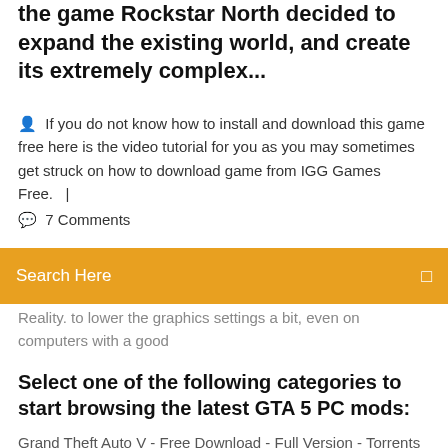the game Rockstar North decided to expand the existing world, and create its extremely complex...
If you do not know how to install and download this game free here is the video tutorial for you as you may sometimes get struck on how to download game from IGG Games Free.  |
7 Comments
Search Here
Reality. to lower the graphics settings a bit, even on computers with a good
Select one of the following categories to start browsing the latest GTA 5 PC mods:
Grand Theft Auto V - Free Download - Full Version - Torrents Title: Grand Theft Auto V (GTA V) Genre: Action, Adventure Developer: Rockstar North Publisher: Rockstar Games All about GTA 5 Game at GamesMojo. Play GTA 5 Online at any console. Grand Theft Auto V Download links for Windows PC, PS4  GTA V